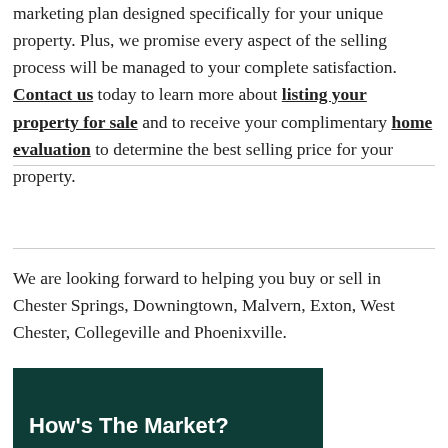marketing plan designed specifically for your unique property. Plus, we promise every aspect of the selling process will be managed to your complete satisfaction. Contact us today to learn more about listing your property for sale and to receive your complimentary home evaluation to determine the best selling price for your property.
We are looking forward to helping you buy or sell in Chester Springs, Downingtown, Malvern, Exton, West Chester, Collegeville and Phoenixville.
[Figure (other): Dark teal/green banner with bold white text reading 'How's The Market?']